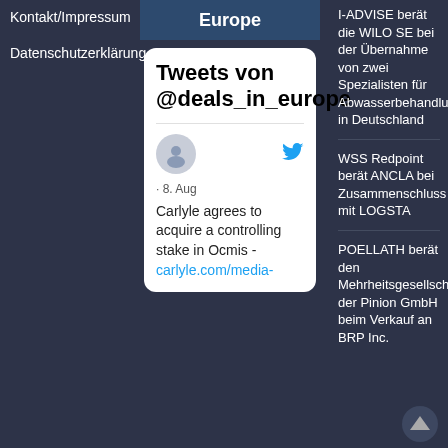Kontakt/Impressum
Datenschutzerklärung
Europe
[Figure (screenshot): Embedded Twitter widget showing 'Tweets von @deals_in_europe' header card with a tweet from Carlyle: 'Carlyle agrees to acquire a controlling stake in Ocmis - carlyle.com/media-' dated 8. Aug, with Twitter bird icon and gray avatar placeholder.]
I-ADVISE berät die WILO SE bei der Übernahme von zwei Spezialisten für Abwasserbehandlung in Deutschland
WSS Redpoint berät ANCLA bei Zusammenschluss mit LOGSTA
POELLATH berät den Mehrheitsgesellschafter der Pinion GmbH beim Verkauf an BRP Inc.